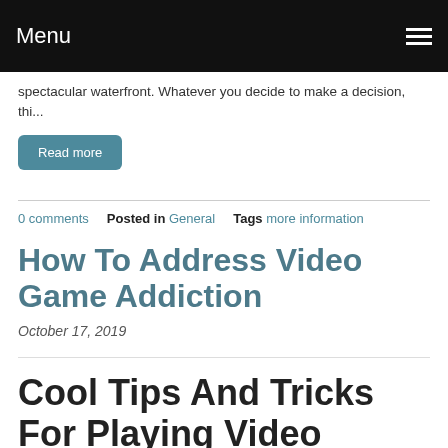Menu
spectacular waterfront. Whatever you decide to make a decision, thi...
Read more
0 comments   Posted in General   Tags more information
How To Address Video Game Addiction
October 17, 2019
Cool Tips And Tricks For Playing Video Games